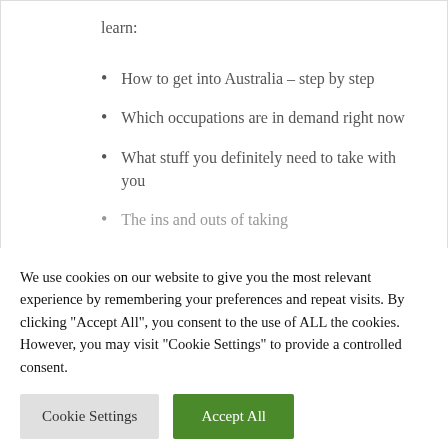learn:
How to get into Australia – step by step
Which occupations are in demand right now
What stuff you definitely need to take with you
The ins and outs of taking
We use cookies on our website to give you the most relevant experience by remembering your preferences and repeat visits. By clicking "Accept All", you consent to the use of ALL the cookies. However, you may visit "Cookie Settings" to provide a controlled consent.